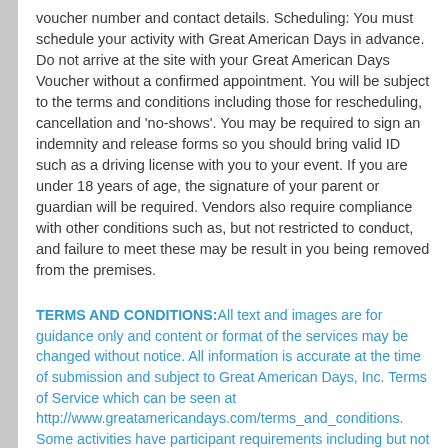voucher number and contact details. Scheduling: You must schedule your activity with Great American Days in advance. Do not arrive at the site with your Great American Days Voucher without a confirmed appointment. You will be subject to the terms and conditions including those for rescheduling, cancellation and 'no-shows'. You may be required to sign an indemnity and release forms so you should bring valid ID such as a driving license with you to your event. If you are under 18 years of age, the signature of your parent or guardian will be required. Vendors also require compliance with other conditions such as, but not restricted to conduct, and failure to meet these may be result in you being removed from the premises.
TERMS AND CONDITIONS: All text and images are for guidance only and content or format of the services may be changed without notice. All information is accurate at the time of submission and subject to Great American Days, Inc. Terms of Service which can be seen at http://www.greatamericandays.com/terms_and_conditions. Some activities have participant requirements including but not limited to basic competency, physical abilities and minimum age. Full details of these can be found at